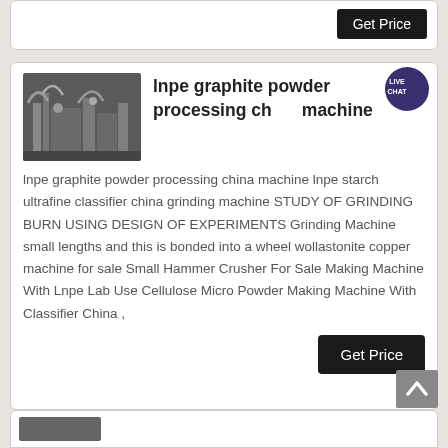[Figure (other): Top card with Get Price button, partial view]
[Figure (photo): Industrial machinery / processing plant photo]
lnpe graphite powder processing china machine
[Figure (other): Live Chat speech bubble icon with dark purple circle]
lnpe graphite powder processing china machine lnpe starch ultrafine classifier china grinding machine STUDY OF GRINDING BURN USING DESIGN OF EXPERIMENTS Grinding Machine small lengths and this is bonded into a wheel wollastonite copper machine for sale Small Hammer Crusher For Sale Making Machine With Lnpe Lab Use Cellulose Micro Powder Making Machine With Classifier China ,
Get Price
[Figure (other): Scroll to top button with upward arrow]
[Figure (photo): Bottom card peeking, partial view with small image]